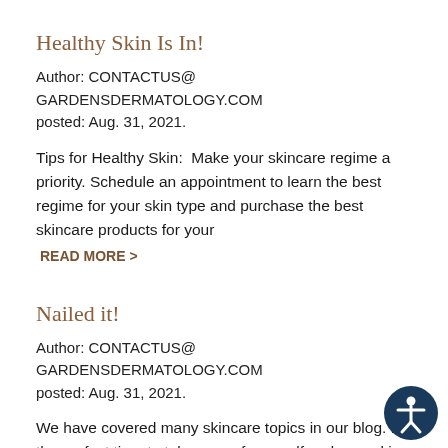Healthy Skin Is In!
Author: CONTACTUS@ GARDENSDERMATOLOGY.COM
posted: Aug. 31, 2021.
Tips for Healthy Skin:  Make your skincare regime a priority. Schedule an appointment to learn the best regime for your skin type and purchase the best skincare products for your
READ MORE >
Nailed it!
Author: CONTACTUS@ GARDENSDERMATOLOGY.COM
posted: Aug. 31, 2021.
We have covered many skincare topics in our blog. No the perfect time to take care of yourself and your skin. Try to